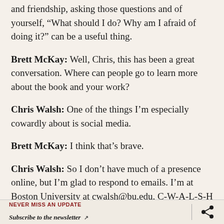and friendship, asking those questions and of yourself, “What should I do? Why am I afraid of doing it?” can be a useful thing.
Brett McKay: Well, Chris, this has been a great conversation. Where can people go to learn more about the book and your work?
Chris Walsh: One of the things I’m especially cowardly about is social media.
Brett McKay: I think that’s brave.
Chris Walsh: So I don’t have much of a presence online, but I’m glad to respond to emails. I’m at Boston University at cwalsh@bu.edu, C-W-A-L-S-H at B-U dot E-D-U. And I’ve
NEVER MISS AN UPDATE
Subscribe to the newsletter